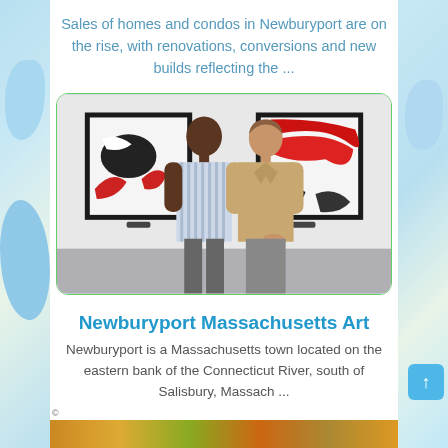Sales of homes and condos in Newburyport are on the rise, with renovations, conversions and new builds reflecting the ...
[Figure (photo): Two people standing in an art gallery viewing abstract paintings on a white wall. One person wears a striped shirt, the other a tan blazer. Two framed artworks visible — one with black and red abstract shapes on white, the other with red abstract shapes.]
Newburyport Massachusetts Art
Newburyport is a Massachusetts town located on the eastern bank of the Connecticut River, south of Salisbury, Massach ...